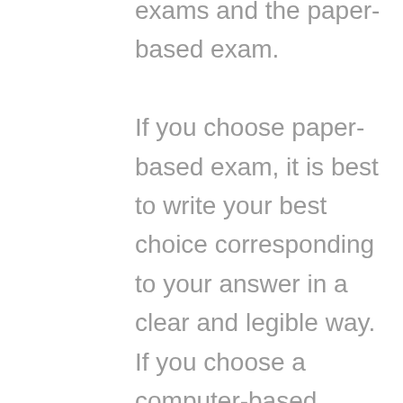exams and the paper-based exam. If you choose paper-based exam, it is best to write your best choice corresponding to your answer in a clear and legible way. If you choose a computer-based exam, make sure that the keyboard you are using is